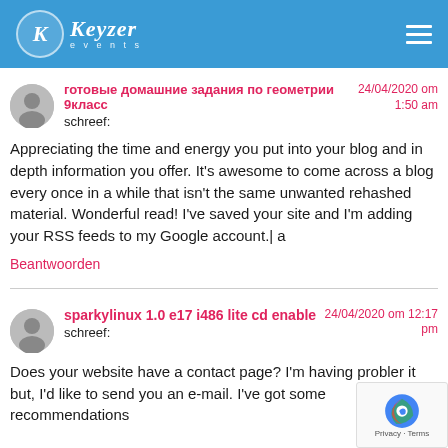Keyzer events
готовые домашние задания по геометрии 9класс schreef:
24/04/2020 om 1:50 am

Appreciating the time and energy you put into your blog and in depth information you offer. It's awesome to come across a blog every once in a while that isn't the same unwanted rehashed material. Wonderful read! I've saved your site and I'm adding your RSS feeds to my Google account.| a
Beantwoorden
sparkylinux 1.0 e17 i486 lite cd enable schreef:
24/04/2020 om 12:17 pm

Does your website have a contact page? I'm having problems locating it but, I'd like to send you an e-mail. I've got some recommendations